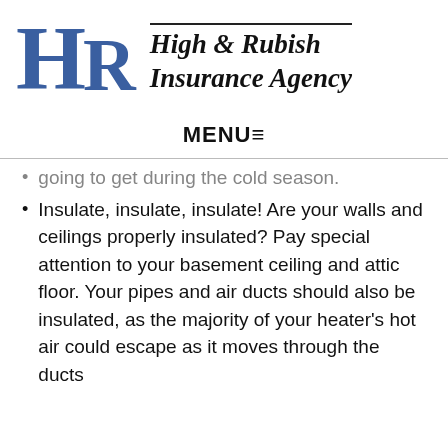[Figure (logo): High & Rubish Insurance Agency logo with large blue HR letters and italic serif text]
MENU≡
going to get during the cold season.
Insulate, insulate, insulate! Are your walls and ceilings properly insulated? Pay special attention to your basement ceiling and attic floor. Your pipes and air ducts should also be insulated, as the majority of your heater's hot air could escape as it moves through the ducts